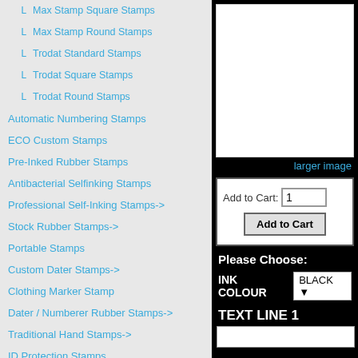Max Stamp Square Stamps
Max Stamp Round Stamps
Trodat Standard Stamps
Trodat Square Stamps
Trodat Round Stamps
Automatic Numbering Stamps
ECO Custom Stamps
Pre-Inked Rubber Stamps
Antibacterial Selfinking Stamps
Professional Self-Inking Stamps->
Stock Rubber Stamps->
Portable Stamps
Custom Dater Stamps->
Clothing Marker Stamp
Dater / Numberer Rubber Stamps->
Traditional Hand Stamps->
ID Protection Stamps
DIY Stamps
[Figure (other): Product image area (white box)]
larger image
Add to Cart: 1
Add to Cart (button)
Please Choose:
INK COLOUR BLACK
TEXT LINE 1